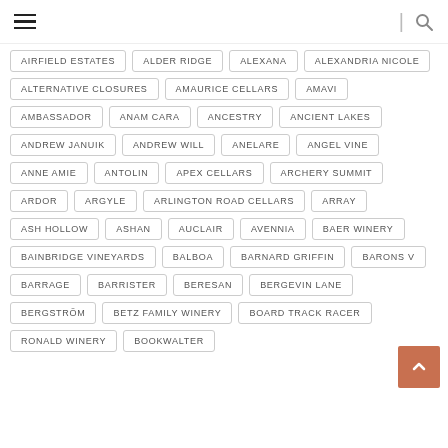Navigation header with hamburger menu and search icon
AIRFIELD ESTATES
ALDER RIDGE
ALEXANA
ALEXANDRIA NICOLE
ALTERNATIVE CLOSURES
AMAURICE CELLARS
AMAVI
AMBASSADOR
ANAM CARA
ANCESTRY
ANCIENT LAKES
ANDREW JANUIK
ANDREW WILL
ANELARE
ANGEL VINE
ANNE AMIE
ANTOLIN
APEX CELLARS
ARCHERY SUMMIT
ARDOR
ARGYLE
ARLINGTON ROAD CELLARS
ARRAY
ASH HOLLOW
ASHAN
AUCLAIR
AVENNIA
BAER WINERY
BAINBRIDGE VINEYARDS
BALBOA
BARNARD GRIFFIN
BARONS V
BARRAGE
BARRISTER
BERESAN
BERGEVIN LANE
BERGSTRÖM
BETZ FAMILY WINERY
BOARD TRACK RACER
RONALD WINERY
BOOKWALTER